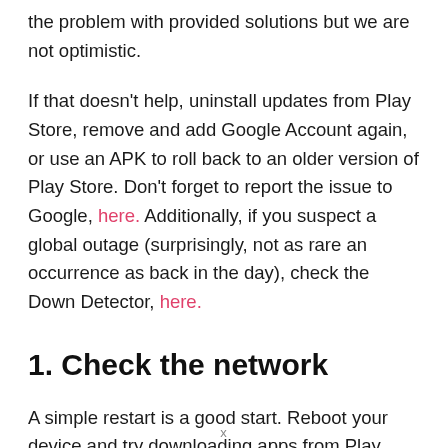the problem with provided solutions but we are not optimistic.
If that doesn't help, uninstall updates from Play Store, remove and add Google Account again, or use an APK to roll back to an older version of Play Store. Don't forget to report the issue to Google, here. Additionally, if you suspect a global outage (surprisingly, not as rare an occurrence as back in the day), check the Down Detector, here.
1. Check the network
A simple restart is a good start. Reboot your device and try downloading apps from Play Store. If that fails, check
x